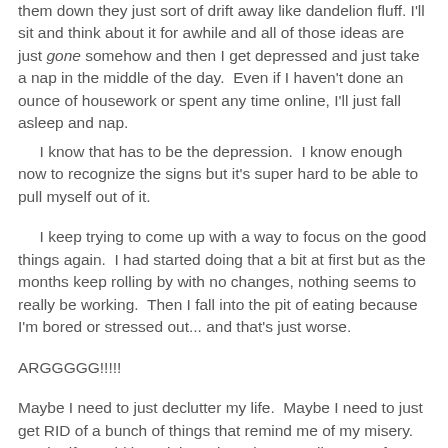them down they just sort of drift away like dandelion fluff. I'll sit and think about it for awhile and all of those ideas are just gone somehow and then I get depressed and just take a nap in the middle of the day. Even if I haven't done an ounce of housework or spent any time online, I'll just fall asleep and nap.
I know that has to be the depression. I know enough now to recognize the signs but it's super hard to be able to pull myself out of it.
I keep trying to come up with a way to focus on the good things again. I had started doing that a bit at first but as the months keep rolling by with no changes, nothing seems to really be working. Then I fall into the pit of eating because I'm bored or stressed out... and that's just worse.
ARGGGGG!!!!!
Maybe I need to just declutter my life. Maybe I need to just get RID of a bunch of things that remind me of my misery. Maybe if I could just sit in a nice, clean, sterile space for awhile, maybe things will come out from of my bit.